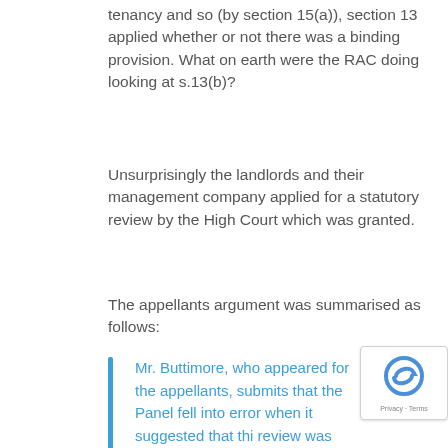tenancy and so (by section 15(a)), section 13 applied whether or not there was a binding provision. What on earth were the RAC doing looking at s.13(b)?
Unsurprisingly the landlords and their management company applied for a statutory review by the High Court which was granted.
The appellants argument was summarised as follows:
Mr. Buttimore, who appeared for the appellants, submits that the Panel fell into error when it suggested that this review was governed by section 13(1)(b) of the 1988 Act. It was governed by